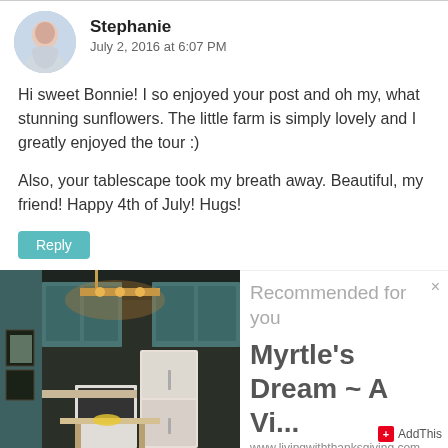Stephanie
July 2, 2016 at 6:07 PM
Hi sweet Bonnie! I so enjoyed your post and oh my, what stunning sunflowers. The little farm is simply lovely and I greatly enjoyed the tour :)
Also, your tablescape took my breath away. Beautiful, my friend! Happy 4th of July! Hugs!
Reply
[Figure (photo): Photo of a kitchen with teal/mint cabinets, chandelier lighting, white refrigerator and stove, and a small dining table with chairs]
Recommended for you
Myrtle's Dream ~ A Vi...
www.livingwithtanksgiving.com
AddThis